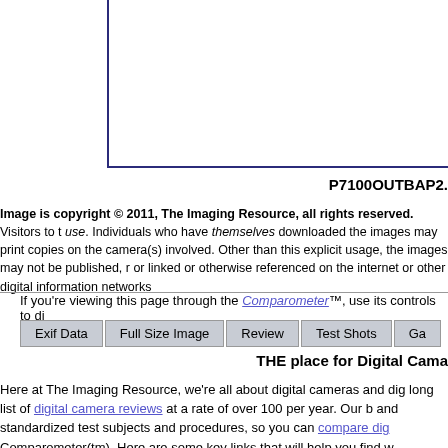[Figure (photo): Partial image box with dark blue border on left and bottom sides, white interior — appears to be cropped camera test image]
P7100OUTBAP2.
Image is copyright © 2011, The Imaging Resource, all rights reserved. Visitors to this site may download these images for personal use. Individuals who have themselves downloaded the images may print copies on their local printers for comparison with the camera(s) involved. Other than this explicit usage, the images may not be published, reproduced, or linked or otherwise referenced on the internet or other digital information networks.
If you're viewing this page through the Comparometer™, use its controls to di...
Exif Data  Full Size Image  Review  Test Shots  Ga...
THE place for Digital Cama...
Here at The Imaging Resource, we're all about digital cameras and dig... long list of digital camera reviews at a rate of over 100 per year. Our b... and standardized test subjects and procedures, so you can compare dig... Comparometer(tm). Here are some key links that will help you find w...